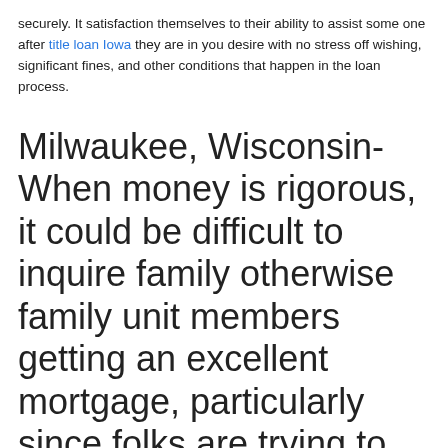securely. It satisfaction themselves to their ability to assist some one after title loan Iowa they are in you desire with no stress off wishing, significant fines, and other conditions that happen in the loan process.
Milwaukee, Wisconsin- When money is rigorous, it could be difficult to inquire family otherwise family unit members getting an excellent mortgage, particularly since folks are trying to make ends meet
Given that the the beginning, Northstar Finance has furnished Payday loans during the Milwaukee for many who you need currency to pay for its monetary duties using a fast app procedure. Very first, a consumer need to phone call, fill out an online means, or see one of its metropolises ranging from nine an effective.m. and you will 6